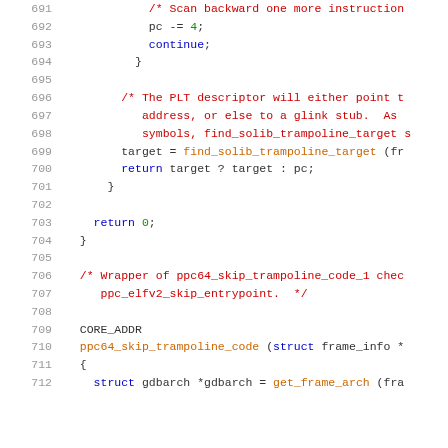[Figure (screenshot): Source code listing showing C code lines 691-712, with line numbers on the left in gray, comments in red, keywords in blue, and function names in orange, on a white background.]